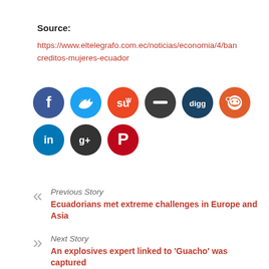Source:
https://www.eltelegrafo.com.ec/noticias/economia/4/ban creditos-mujeres-ecuador
[Figure (other): Row of social media sharing icons: Facebook (blue), Twitter (light blue), StumbleUpon (orange), minus/dash (dark gray), Digg (dark blue), Reddit (red), LinkedIn (blue), Google+ (dark gray), and Pinterest (red) circle icons]
Previous Story
Ecuadorians met extreme challenges in Europe and Asia
Next Story
An explosives expert linked to 'Guacho' was captured